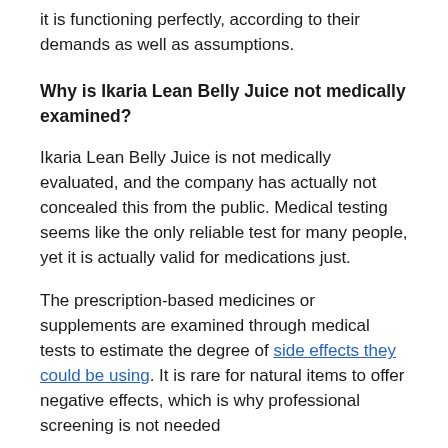it is functioning perfectly, according to their demands as well as assumptions.
Why is Ikaria Lean Belly Juice not medically examined?
Ikaria Lean Belly Juice is not medically evaluated, and the company has actually not concealed this from the public. Medical testing seems like the only reliable test for many people, yet it is actually valid for medications just.
The prescription-based medicines or supplements are examined through medical tests to estimate the degree of side effects they could be using. It is rare for natural items to offer negative effects, which is why professional screening is not needed